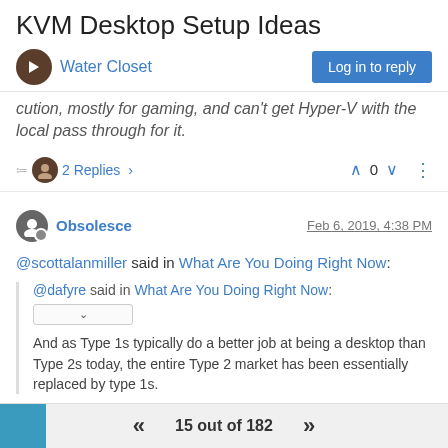KVM Desktop Setup Ideas
Water Closet
Log in to reply
cution, mostly for gaming, and can't get Hyper-V with the local pass through for it.
2 Replies  >   0   ⋮
Obsolesce   Feb 6, 2019, 4:38 PM
@scottalanmiller said in What Are You Doing Right Now:
@dafyre said in What Are You Doing Right Now:
And as Type 1s typically do a better job at being a desktop than Type 2s today, the entire Type 2 market has been essentially replaced by type 1s.
15 out of 182